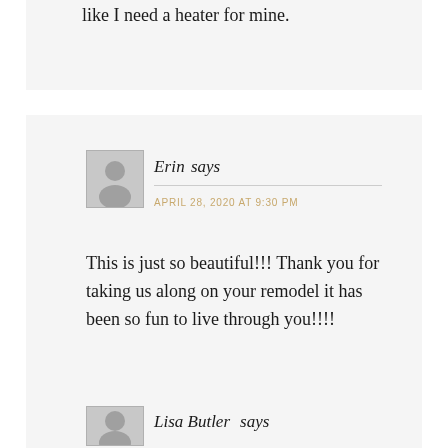like I need a heater for mine.
Erin says
APRIL 28, 2020 AT 9:30 PM
This is just so beautiful!!! Thank you for taking us along on your remodel it has been so fun to live through you!!!!
Lisa Butler says